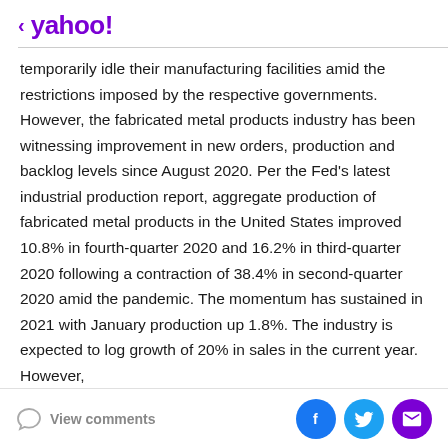< yahoo!
temporarily idle their manufacturing facilities amid the restrictions imposed by the respective governments. However, the fabricated metal products industry has been witnessing improvement in new orders, production and backlog levels since August 2020. Per the Fed's latest industrial production report, aggregate production of fabricated metal products in the United States improved 10.8% in fourth-quarter 2020 and 16.2% in third-quarter 2020 following a contraction of 38.4% in second-quarter 2020 amid the pandemic. The momentum has sustained in 2021 with January production up 1.8%. The industry is expected to log growth of 20% in sales in the current year. However,
View comments